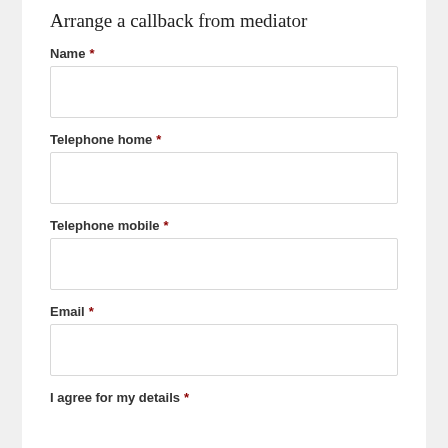Arrange a callback from mediator
Name *
Telephone home *
Telephone mobile *
Email *
I agree for my details *